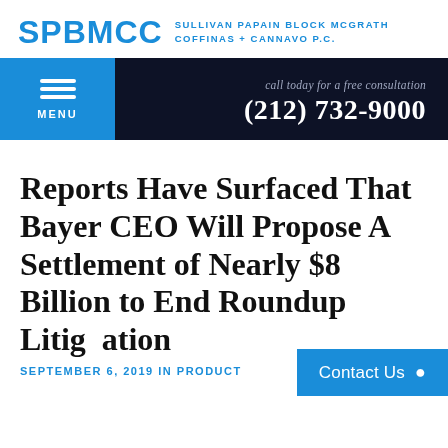SPBMCC SULLIVAN PAPAIN BLOCK McGRATH COFFINAS + CANNAVO P.C.
call today for a free consultation
(212) 732-9000
Reports Have Surfaced That Bayer CEO Will Propose A Settlement of Nearly $8 Billion to End Roundup Litigation
SEPTEMBER 6, 2019 IN PRODUCT